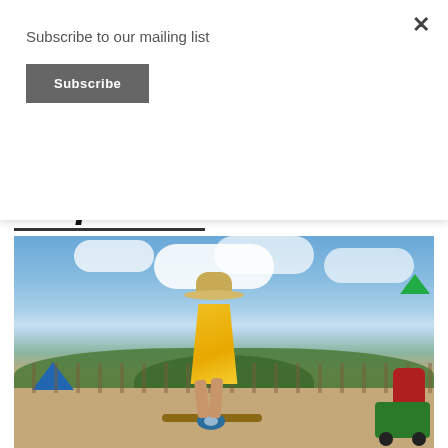Subscribe to our mailing list
Subscribe
×
uToPIAfest
[Figure (photo): A woman in a yellow dress and wide-brimmed hat balancing on a balance board at an outdoor festival. Blue sky with clouds, trees and festival tents in the background, a green utility cart with wheels visible on the right.]